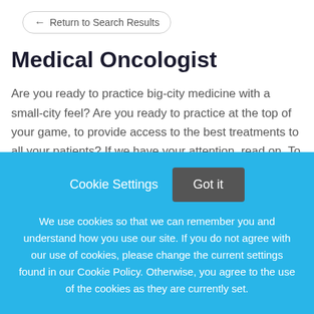← Return to Search Results
Medical Oncologist
Are you ready to practice big-city medicine with a small-city feel? Are you ready to practice at the top of your game, to provide access to the best treatments to all your patients? If we have your attention, read on. To show
This job listing is no longer active.
Cookie Settings   Got it
We use cookies so that we can remember you and understand how you use our site. If you do not agree with our use of cookies, please change the current settings found in our Cookie Policy. Otherwise, you agree to the use of the cookies as they are currently set.